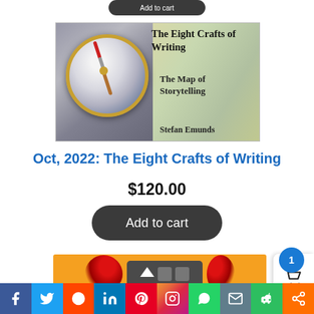[Figure (illustration): Book cover for 'The Eight Crafts of Writing: The Map of Storytelling' by Stefan Emunds, featuring a compass on a map background]
Oct, 2022: The Eight Crafts of Writing
$120.00
Add to cart
[Figure (other): Partial view of next product with orange background and icons]
[Figure (other): Social sharing bar with Facebook, Twitter, Reddit, LinkedIn, Pinterest, Instagram, WhatsApp, Email, Evernote, Share buttons]